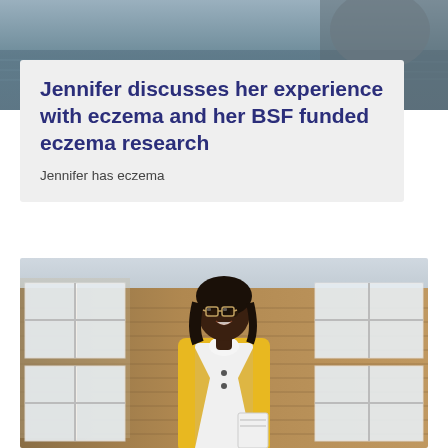[Figure (photo): Top portion of a photo showing a blurred background with what appears to be water or landscape, partially visible at the top of the page]
Jennifer discusses her experience with eczema and her BSF funded eczema research
Jennifer has eczema
[Figure (photo): Photo of Jennifer, a young Black woman wearing glasses and a yellow blazer over a white shirt, smiling, standing in front of a brick building with white-framed windows]